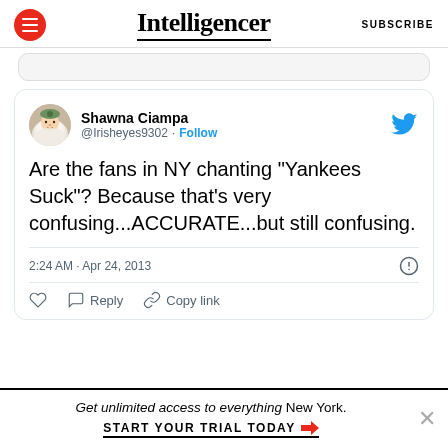Intelligencer | SUBSCRIBE
Shawna Ciampa @Irisheyes9302 · Follow
Are the fans in NY chanting "Yankees Suck"? Because that's very confusing...ACCURATE...but still confusing.
2:24 AM · Apr 24, 2013
Reply  Copy link
Get unlimited access to everything New York. START YOUR TRIAL TODAY